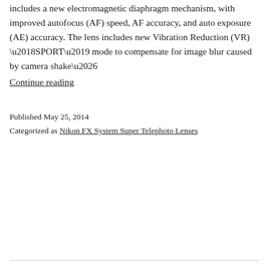includes a new electromagnetic diaphragm mechanism, with improved autofocus (AF) speed, AF accuracy, and auto exposure (AE) accuracy. The lens includes new Vibration Reduction (VR) ‘SPORT’ mode to compensate for image blur caused by camera shake…
Continue reading
Published May 25, 2014
Categorized as Nikon FX System Super Telephoto Lenses